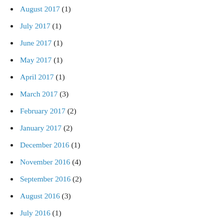August 2017 (1)
July 2017 (1)
June 2017 (1)
May 2017 (1)
April 2017 (1)
March 2017 (3)
February 2017 (2)
January 2017 (2)
December 2016 (1)
November 2016 (4)
September 2016 (2)
August 2016 (3)
July 2016 (1)
December 2015 (2)
November 2015 (2)
October 2015 (1)
August 2014 (2)